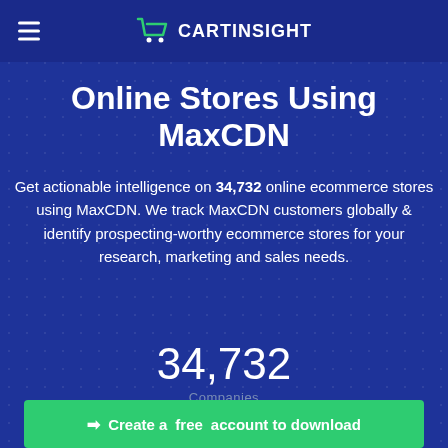CARTINSIGHT
Online Stores Using MaxCDN
Get actionable intelligence on 34,732 online ecommerce stores using MaxCDN. We track MaxCDN customers globally & identify prospecting-worthy ecommerce stores for your research, marketing and sales needs.
34,732
Companies
➡ Create a free account to download